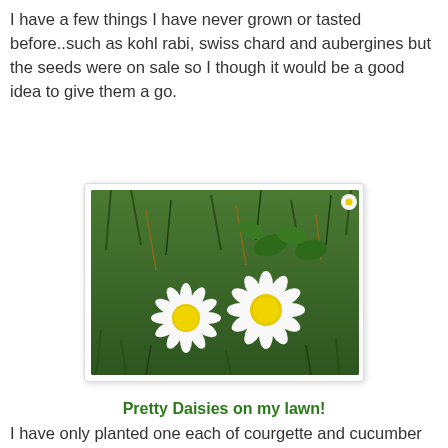I have a few things I have never grown or tasted before..such as kohl rabi, swiss chard and aubergines but the seeds were on sale so I though it would be a good idea to give them a go.
[Figure (photo): Close-up photograph of two white daisy flowers with yellow centres growing in green grass lawn, with clover leaves visible]
Pretty Daisies on my lawn!
I have only planted one each of courgette and cucumber and will do the same with the marrow when I get the seeds and then plant another one of each in about 6 weeks time so they